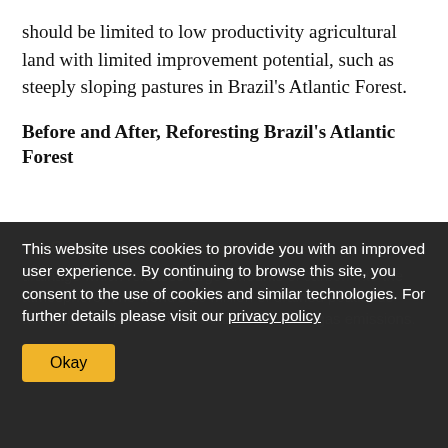should be limited to low productivity agricultural land with limited improvement potential, such as steeply sloping pastures in Brazil's Atlantic Forest.
Before and After, Reforesting Brazil's Atlantic Forest
13. Conserve and restore peatlands.
drainage which releases large amounts of carbon into the atmosphere. The world's 26 million of drained peatlands account for 2 percent of annual greenhouse gas emissions.
This website uses cookies to provide you with an improved user experience. By continuing to browse this site, you consent to the use of cookies and similar technologies. For further details please visit our privacy policy